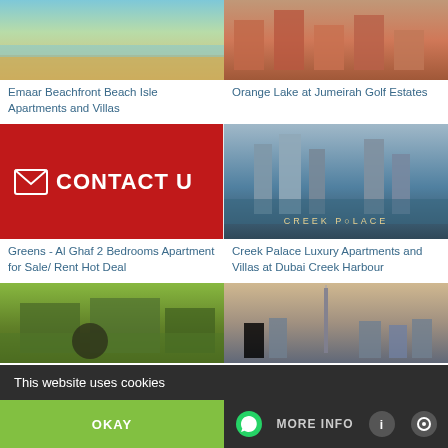[Figure (photo): Aerial beach resort photo - Emaar Beachfront]
Emaar Beachfront Beach Isle Apartments and Villas
[Figure (photo): Orange/terracotta colored building exterior - Orange Lake at Jumeirah Golf Estates]
Orange Lake at Jumeirah Golf Estates
[Figure (photo): Red contact us button with envelope icon]
Greens - Al Ghaf 2 Bedrooms Apartment for Sale/ Rent Hot Deal
[Figure (photo): Creek Palace luxury apartment towers at Dubai Creek Harbour waterfront]
Creek Palace Luxury Apartments and Villas at Dubai Creek Harbour
[Figure (photo): Green landscaped apartment complex]
[Figure (photo): Dubai skyline with Burj Khalifa at dusk]
This website uses cookies
OKAY
MORE INFO